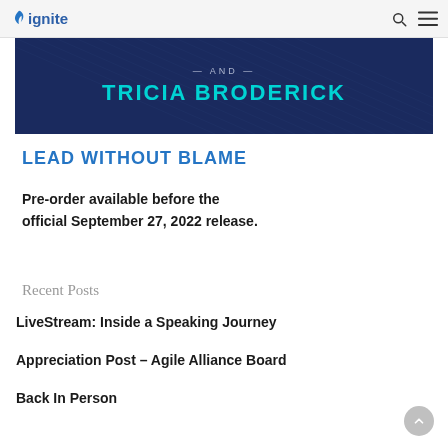ignite
[Figure (illustration): Dark navy blue banner with diagonal line texture. Text reads 'AND' in small caps above 'TRICIA BRODERICK' in large teal/cyan uppercase letters.]
LEAD WITHOUT BLAME
Pre-order available before the official September 27, 2022 release.
Recent Posts
LiveStream: Inside a Speaking Journey
Appreciation Post – Agile Alliance Board
Back In Person